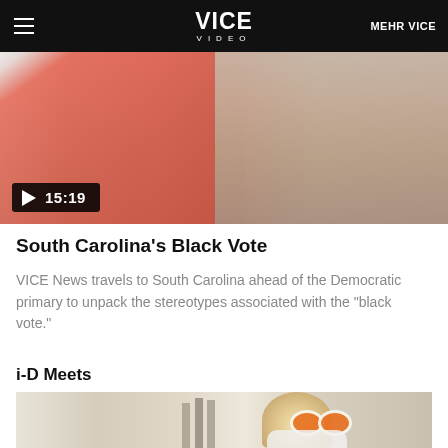VICE VIDEO | MEHR VICE
[Figure (screenshot): Video thumbnail showing two women, one in a pink/coral jacket and one in a tan/beige top, with a video play button overlay showing duration 15:19]
South Carolina's Black Vote
VICE News travels to South Carolina ahead of the Democratic primary to unpack the stereotypes associated with the "black vote."
i-D Meets
[Figure (screenshot): Video thumbnail showing a person wearing large round orange-tinted sunglasses and a white hoodie, with buildings in background]